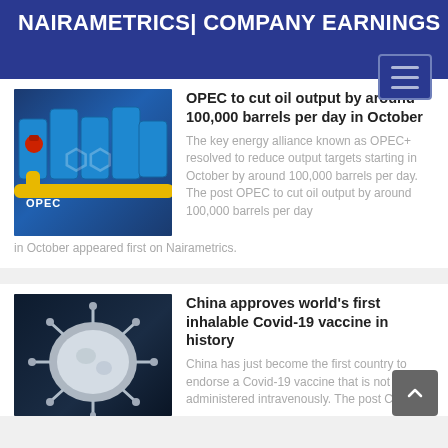NAIRAMETRICS| COMPANY EARNINGS
[Figure (photo): OPEC blue barrels with yellow pipes and OPEC logo]
OPEC to cut oil output by around 100,000 barrels per day in October
The key energy alliance known as OPEC+ resolved to reduce output targets starting in October by around 100,000 barrels per day. The post OPEC to cut oil output by around 100,000 barrels per day in October appeared first on Nairametrics.
[Figure (photo): Microscopic image of Covid-19 virus particle, white/silver on dark background]
China approves world’s first inhalable Covid-19 vaccine in history
China has just become the first country to endorse a Covid-19 vaccine that is not administered intravenously. The post China...